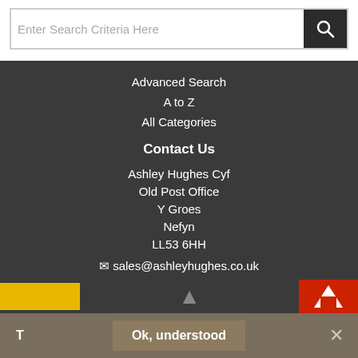Enter Search Criteria Here
Advanced Search
A to Z
All Categories
Contact Us
Ashley Hughes Cyf
Old Post Office
Y Groes
Nefyn
LL53 6HH
sales@ashleyhughes.co.uk
01758 721700
Ok, understood